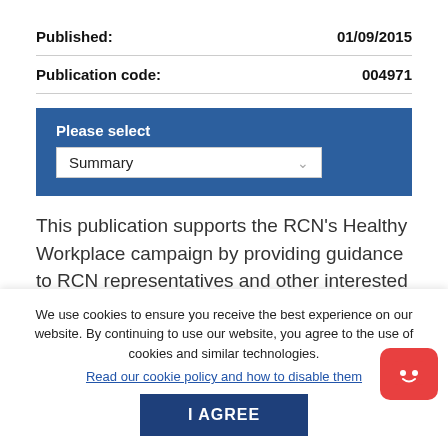Published: 01/09/2015
Publication code: 004971
[Figure (screenshot): Blue box with 'Please select' label and a dropdown showing 'Summary']
This publication supports the RCN’s Healthy Workplace campaign by providing guidance to RCN representatives and other interested parties on one of the main issues affecting
We use cookies to ensure you receive the best experience on our website. By continuing to use our website, you agree to the use of cookies and similar technologies.
Read our cookie policy and how to disable them
I AGREE